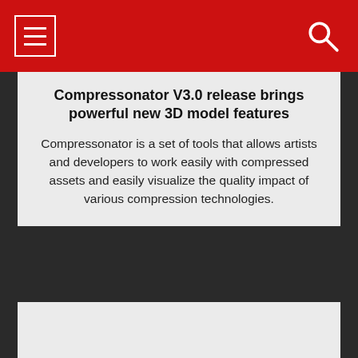☰ 🔍
Compressonator V3.0 release brings powerful new 3D model features
Compressonator is a set of tools that allows artists and developers to work easily with compressed assets and easily visualize the quality impact of various compression technologies.
[Figure (other): Light grey content card area at bottom, partially visible]